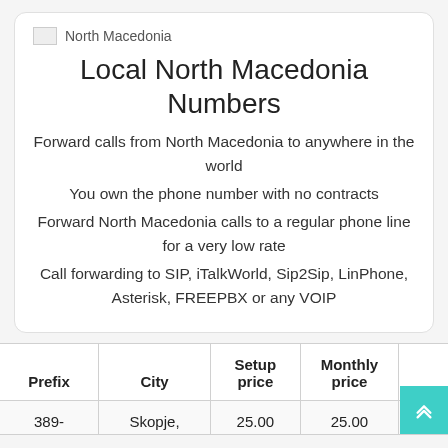[Figure (logo): North Macedonia flag icon with label text]
Local North Macedonia Numbers
Forward calls from North Macedonia to anywhere in the world
You own the phone number with no contracts
Forward North Macedonia calls to a regular phone line for a very low rate
Call forwarding to SIP, iTalkWorld, Sip2Sip, LinPhone, Asterisk, FREEPBX or any VOIP
| Prefix | City | Setup price | Monthly price |  |
| --- | --- | --- | --- | --- |
| 389- | Skopje, | 25.00 | 25.00 | Read |